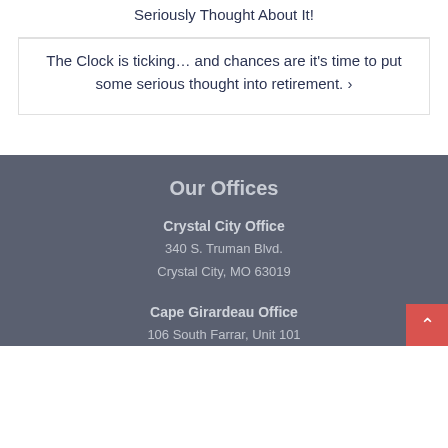Seriously Thought About It!
The Clock is ticking… and chances are it's time to put some serious thought into retirement. >
Our Offices
Crystal City Office
340 S. Truman Blvd.
Crystal City, MO 63019
Cape Girardeau Office
106 South Farrar, Unit 101